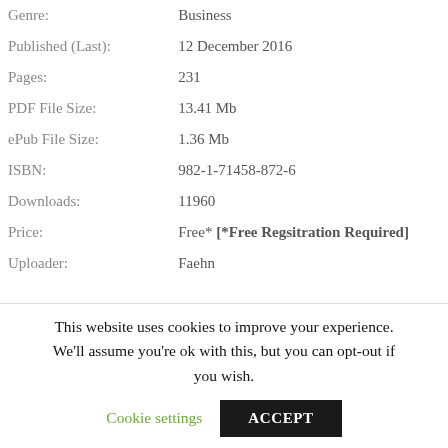| Genre: | Business |
| Published (Last): | 12 December 2016 |
| Pages: | 231 |
| PDF File Size: | 13.41 Mb |
| ePub File Size: | 1.36 Mb |
| ISBN: | 982-1-71458-872-6 |
| Downloads: | 11960 |
| Price: | Free* [*Free Regsitration Required] |
| Uploader: | Faehn |
This website uses cookies to improve your experience. We'll assume you're ok with this, but you can opt-out if you wish.
Cookie settings
ACCEPT